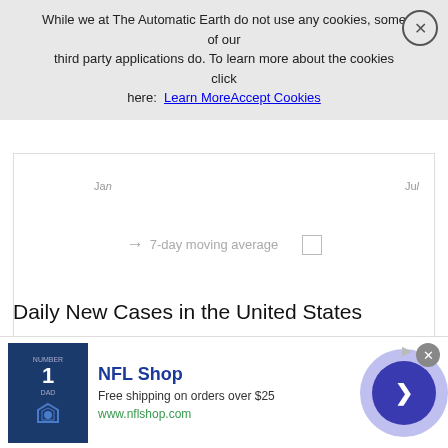While we at The Automatic Earth do not use any cookies, some of our third party applications do. To learn more about the cookies click here: Learn More   Accept Cookies
[Figure (continuous-plot): Partial view of a line chart showing time series data, with x-axis labels 'Jan' and 'Jul', a legend showing '7-day moving average' with arrow icon and empty checkbox.]
Daily New Cases in the United States
[Figure (continuous-plot): Bar chart titled 'Daily New Cases', subtitle 'Cases per Day / Data as of 0:00 GMT+0', with y-axis label '100k'. Chart is partially cut off.]
[Figure (infographic): NFL Shop advertisement. Shows a Dallas Cowboys jersey (#1 DAD). Text: 'NFL Shop', 'Free shipping on orders over $25', 'www.nflshop.com'. Has a blue circular CTA button with right arrow.]